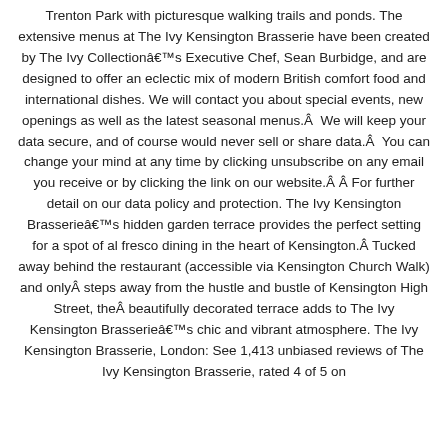Trenton Park with picturesque walking trails and ponds. The extensive menus at The Ivy Kensington Brasserie have been created by The Ivy Collection's Executive Chef, Sean Burbidge, and are designed to offer an eclectic mix of modern British comfort food and international dishes. We will contact you about special events, new openings as well as the latest seasonal menus.Â  We will keep your data secure, and of course would never sell or share data.Â  You can change your mind at any time by clicking unsubscribe on any email you receive or by clicking the link on our website.Â Â For further detail on our data policy and protection. The Ivy Kensington Brasserie's hidden garden terrace provides the perfect setting for a spot of al fresco dining in the heart of Kensington.Â Tucked away behind the restaurant (accessible via Kensington Church Walk) and onlyÂ steps away from the hustle and bustle of Kensington High Street, theÂ beautifully decorated terrace adds to The Ivy Kensington Brasserie's chic and vibrant atmosphere. The Ivy Kensington Brasserie, London: See 1,413 unbiased reviews of The Ivy Kensington Brasserie, rated 4 of 5 on